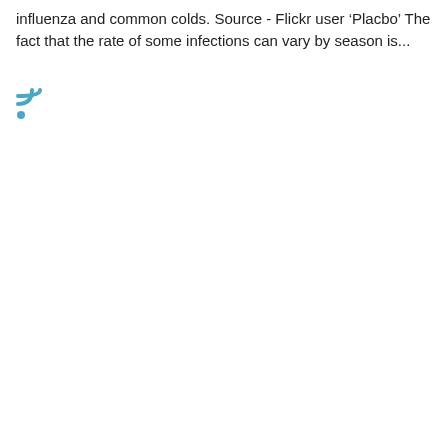influenza and common colds. Source - Flickr user 'Placbo' The fact that the rate of some infections can vary by season is...
[Figure (other): RSS feed icon in blue/teal color]